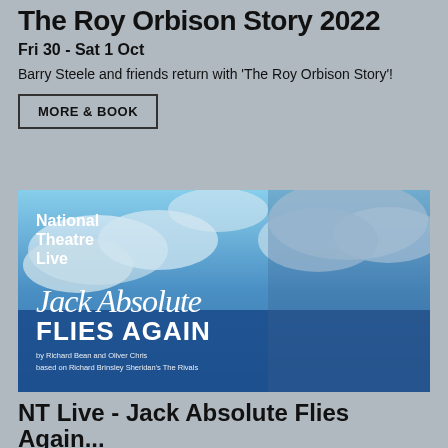The Roy Orbison Story 2022
Fri 30 - Sat 1 Oct
Barry Steele and friends return with 'The Roy Orbison Story'!
MORE & BOOK
[Figure (photo): Promotional poster for National Theatre Live: Jack Absolute Flies Again, showing two actors in WWII military attire against a blue sky with clouds. Text reads: National Theatre Live, Jack Absolute Flies Again, by Richard Bean and Oliver Chris, based on Richard Brinsley Sheridan's The Rivals.]
NT Live - Jack Absolute Flies Again...
Thurs 6 Oct